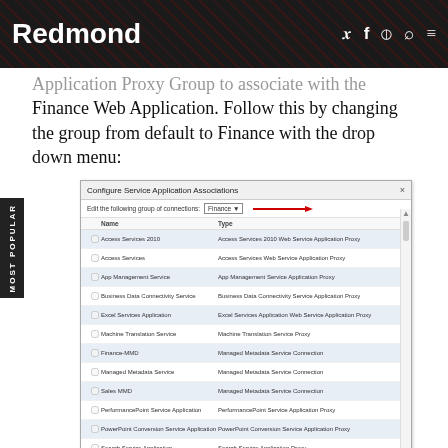Redmond
Application Proxy Group to associate with the Finance Web Application. Follow this by changing the group from default to Finance with the drop down menu:
[Figure (screenshot): Screenshot of 'Configure Service Application Associations' dialog box showing a list of services with Name and Type columns, with a red arrow pointing to the Finance dropdown selection. Services listed include: Access Services 2010, Access Services, App Management Service, Business Data Connectivity Service, Excel Services Application, Machine Translation Service, Finance-MMD, Managed Metadata Service, Sales MMD, PerformancePoint Service Application, PowerPoint Conversion Service Application, Search Service Application, Secure Store Service, SPRS, State Service, Usage and health data collection.]
[Click on image for larger view.]
As you can see there are still no actual Service Applications associated with the Finance Service